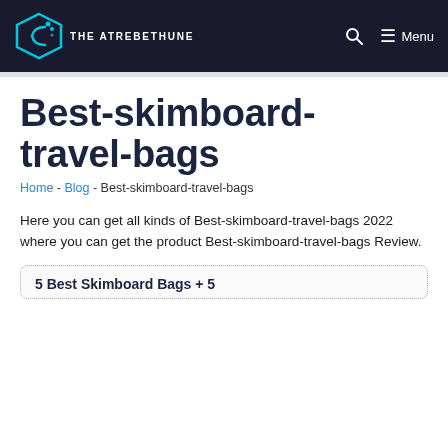THE ATREBETHUNE — Menu
Best-skimboard-travel-bags
Home - Blog - Best-skimboard-travel-bags
Here you can get all kinds of Best-skimboard-travel-bags 2022 where you can get the product Best-skimboard-travel-bags Review.
5 Best Skimboard Bags + 5